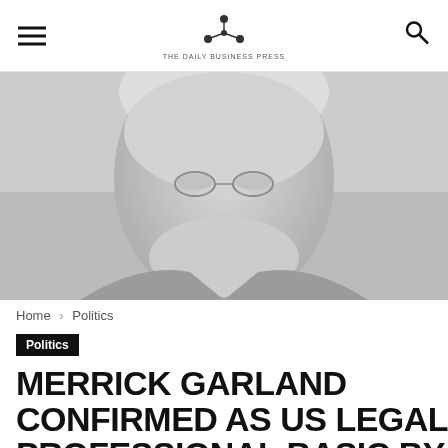The Daily Business Press
[Figure (photo): Close-up photo of an elderly man with white hair, glasses, smiling, wearing a suit. Grayscale/muted tones.]
Home › Politics
Politics
MERRICK GARLAND CONFIRMED AS US LEGAL PROFESSIONAL BASIC BY THE SENATE